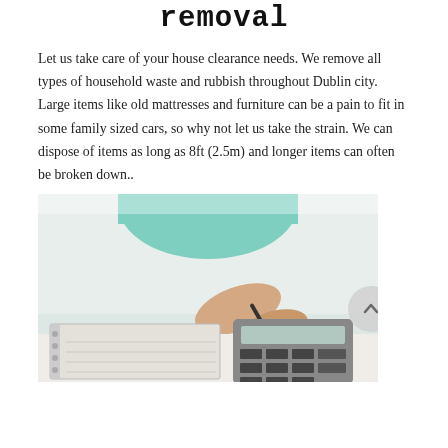removal
Let us take care of your house clearance needs. We remove all types of household waste and rubbish throughout Dublin city. Large items like old mattresses and furniture can be a pain to fit in some family sized cars, so why not let us take the strain. We can dispose of items as long as 8ft (2.5m) and longer items can often be broken down..
[Figure (photo): A person in a teal top using a calculator and writing in a notebook on a desk, viewed from above and to the side.]